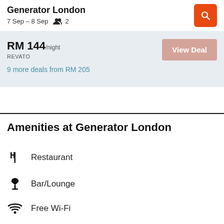Generator London
7 Sep – 8 Sep   2
RM 144/night
REVATO
View Deal
9 more deals from RM 205
Amenities at Generator London
Restaurant
Bar/Lounge
Free Wi-Fi